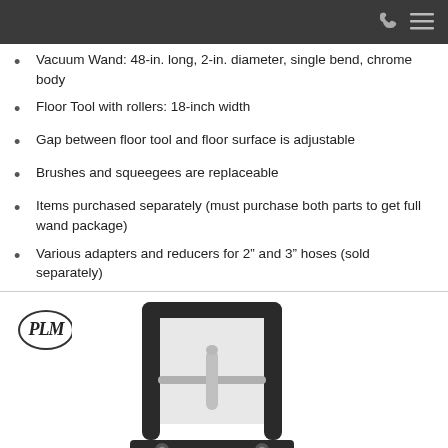Vacuum Wand: 48-in. long, 2-in. diameter, single bend, chrome body
Floor Tool with rollers: 18-inch width
Gap between floor tool and floor surface is adjustable
Brushes and squeegees are replaceable
Items purchased separately (must purchase both parts to get full wand package)
Various adapters and reducers for 2” and 3” hoses (sold separately)
[Figure (photo): PLM logo with 'It's a System Not a Machine' tagline on the left, and a product photo of a vacuum floor tool wand attachment (black metal frame with chrome adjustment rod) on the right.]